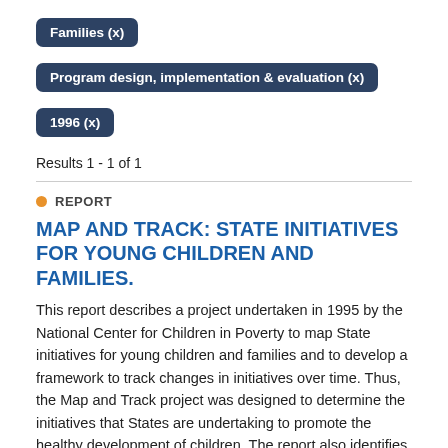Families (x)
Program design, implementation & evaluation (x)
1996 (x)
Results 1 - 1 of 1
REPORT
MAP AND TRACK: STATE INITIATIVES FOR YOUNG CHILDREN AND FAMILIES.
This report describes a project undertaken in 1995 by the National Center for Children in Poverty to map State initiatives for young children and families and to develop a framework to track changes in initiatives over time. Thus, the Map and Track project was designed to determine the initiatives that States are undertaking to promote the healthy development of children. The report also identifies...